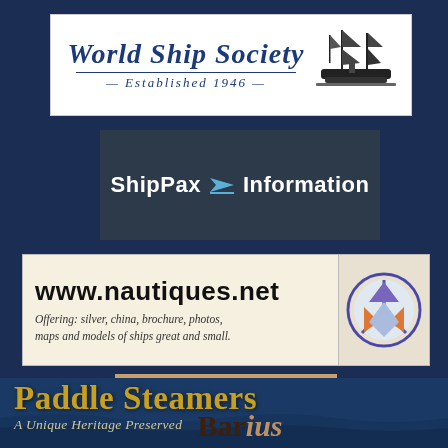[Figure (logo): World Ship Society logo banner — white background with italic blue script text 'World Ship Society' and 'Established 1946' below a horizontal line, with a sailing ship and steamship illustration on the right]
[Figure (logo): ShipPax Information logo — dark blue/grey background with white bold text 'ShipPax' with blue arrow/chevron graphic and 'Information' in white]
[Figure (logo): www.nautiques.net banner — cream background with bold black URL, italic text 'Offering: silver, china, brochure, photos, maps and models of ships great and small.' and a circular peace-sign style logo on the right in purple, orange and blue]
[Figure (logo): MBarius logo — tan/brown background with overlapping large italic M and 'Barius' text in dark brown with dashed border at bottom]
[Figure (logo): Paddle Steamers banner — ocean photo background with large gold text 'Paddle Steamers' and italic subtitle 'A Unique Heritage Preserved']